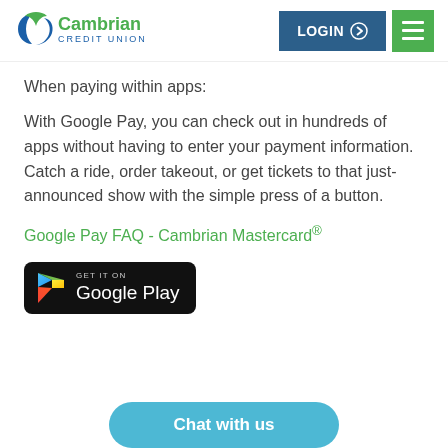[Figure (logo): Cambrian Credit Union logo with blue/green crescent marks and green text]
[Figure (screenshot): LOGIN button (dark blue) and hamburger menu button (green) in header]
When paying within apps:
With Google Pay, you can check out in hundreds of apps without having to enter your payment information. Catch a ride, order takeout, or get tickets to that just-announced show with the simple press of a button.
Google Pay FAQ - Cambrian Mastercard®
[Figure (logo): Get it on Google Play badge (black rounded rectangle with Play triangle icon)]
Chat with us